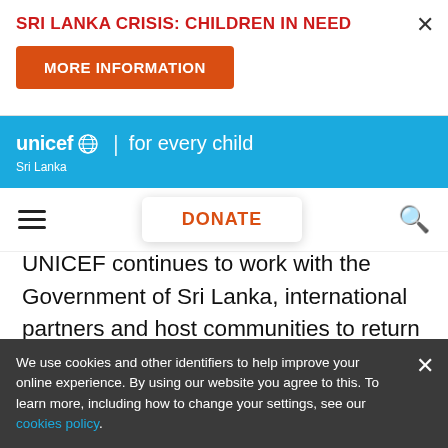SRI LANKA CRISIS: CHILDREN IN NEED
MORE INFORMATION
unicef for every child | Sri Lanka
DONATE
UNICEF continues to work with the Government of Sri Lanka, international partners and host communities to return internally displaced people to their homes and to sustainably restore and rebuild infrastructure, essential services, lives and
We use cookies and other identifiers to help improve your online experience. By using our website you agree to this. To learn more, including how to change your settings, see our cookies policy.